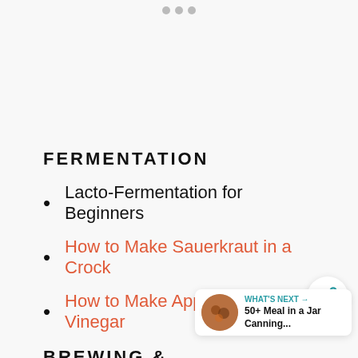• • •
FERMENTATION
Lacto-Fermentation for Beginners
How to Make Sauerkraut in a Crock
How to Make Apple Cider Vinegar
BREWING & WINEMAKING
How to Make Fermented...